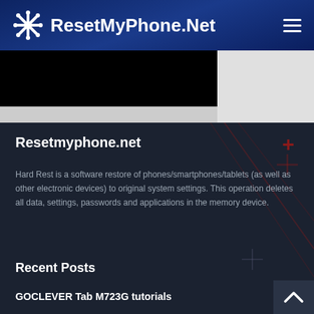ResetMyPhone.Net
[Figure (screenshot): Black image strip from website content]
Resetmyphone.net
Hard Rest is a software restore of phones/smartphones/tablets (as well as other electronic devices) to original system settings. This operation deletes all data, settings, passwords and applications in the memory device.
Recent Posts
GOCLEVER Tab M723G tutorials